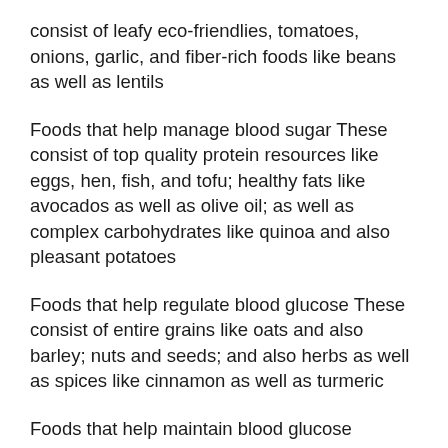consist of leafy eco-friendlies, tomatoes, onions, garlic, and fiber-rich foods like beans as well as lentils
Foods that help manage blood sugar These consist of top quality protein resources like eggs, hen, fish, and tofu; healthy fats like avocados as well as olive oil; as well as complex carbohydrates like quinoa and also pleasant potatoes
Foods that help regulate blood glucose These consist of entire grains like oats and also barley; nuts and seeds; and also herbs as well as spices like cinnamon as well as turmeric
Foods that help maintain blood glucose